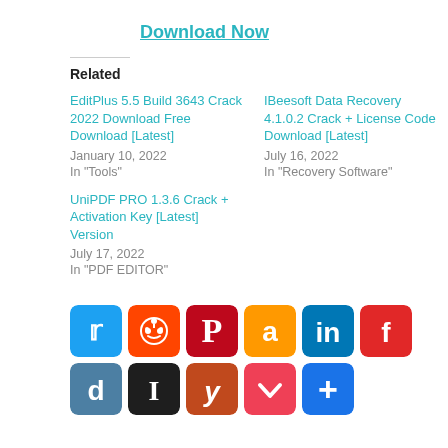Download Now
Related
EditPlus 5.5 Build 3643 Crack 2022 Download Free Download [Latest]
January 10, 2022
In "Tools"
IBeesoft Data Recovery 4.1.0.2 Crack + License Code Download [Latest]
July 16, 2022
In "Recovery Software"
UniPDF PRO 1.3.6 Crack + Activation Key [Latest] Version
July 17, 2022
In "PDF EDITOR"
[Figure (infographic): Row of social media sharing icons: Twitter (blue), Reddit (orange-red), Pinterest (dark red), Amazon (orange), LinkedIn (blue), Flipboard (red), Digg (steel blue), Instapaper (black), Yummly (orange-brown), Pocket (red), AddThis (blue)]